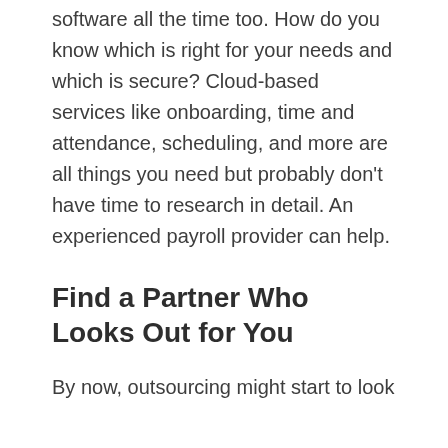software all the time too. How do you know which is right for your needs and which is secure? Cloud-based services like onboarding, time and attendance, scheduling, and more are all things you need but probably don't have time to research in detail. An experienced payroll provider can help.
Find a Partner Who Looks Out for You
By now, outsourcing might start to look